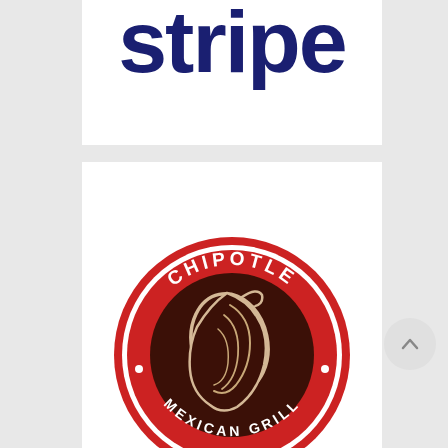[Figure (logo): Stripe logo: bold navy/dark blue lowercase text 'stripe' partially visible at top, cropped]
[Figure (logo): Chipotle Mexican Grill circular logo: red ring with white text 'CHIPOTLE' at top and '· MEXICAN GRILL ·' at bottom, dark brown inner circle with stylized cream/white chili pepper illustration]